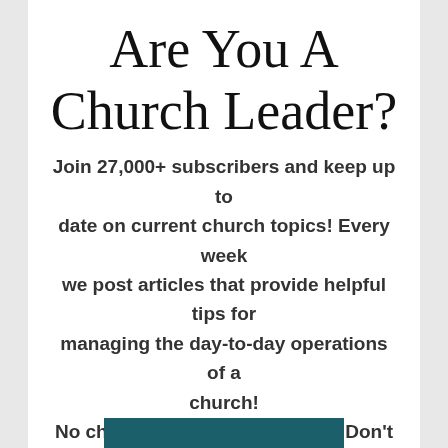Are You A Church Leader?
Join 27,000+ subscribers and keep up to date on current church topics! Every week we post articles that provide helpful tips for managing the day-to-day operations of a church! No charge. No spam. Only love. Don't worry you can unsubscribe anytime!.
[Figure (other): Teal/dark cyan colored button or bar at the bottom of the content area]